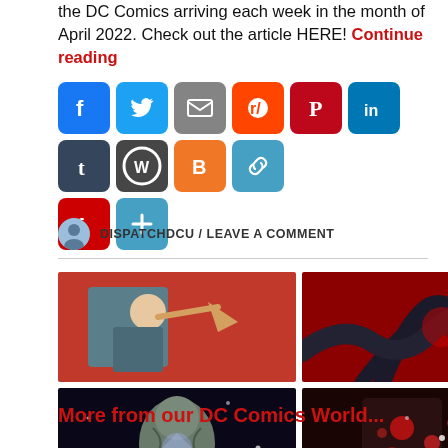the DC Comics arriving each week in the month of April 2022. Check out the article HERE! Continue reading
[Figure (infographic): Row of social media sharing icons: Facebook, Twitter, Email, Reddit, Pinterest, LinkedIn, Tumblr, WordPress, Blogger, Copy Link, Flipboard, More]
DISPATCHDCU / LEAVE A COMMENT
[Figure (photo): Four comic book cover images in a 2x2 grid: top-left shows a superhero in teal/grey suit on red background being struck, top-right shows dark tentacled creature on red background, bottom-left shows silver rocky figure in space, bottom-right shows dark figure with red splatter]
More from our DC Comics World...